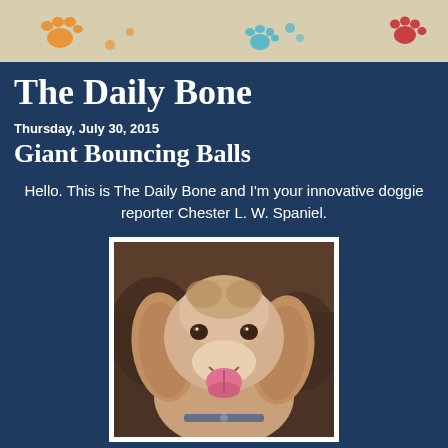[Figure (illustration): Blog header banner with beige/tan background and colorful paw print decorations in orange, teal/blue, and red colors]
The Daily Bone
Thursday, July 30, 2015
Giant Bouncing Balls
Hello. This is The Daily Bone and I'm your innovative doggie reporter Chester L. W. Spaniel.
[Figure (photo): A smiling Cocker Spaniel dog with golden/cream fur, long floppy ears, and tongue out, sitting on a brown leather couch. The dog appears happy and is looking directly at the camera.]